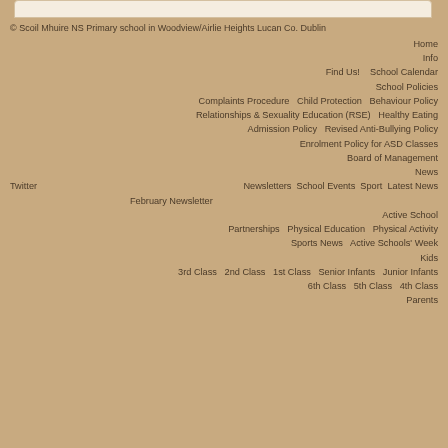© Scoil Mhuire NS Primary school in Woodview/Airlie Heights Lucan Co. Dublin
Home
Info
Find Us!   School Calendar
School Policies
Complaints Procedure   Child Protection   Behaviour Policy
Relationships & Sexuality Education (RSE)   Healthy Eating
Admission Policy   Revised Anti-Bullying Policy
Enrolment Policy for ASD Classes
Board of Management
News
Twitter   Newsletters   School Events   Sport   Latest News
February Newsletter
Active School
Partnerships   Physical Education   Physical Activity
Sports News   Active Schools' Week
Kids
3rd Class   2nd Class   1st Class   Senior Infants   Junior Infants
6th Class   5th Class   4th Class
Parents